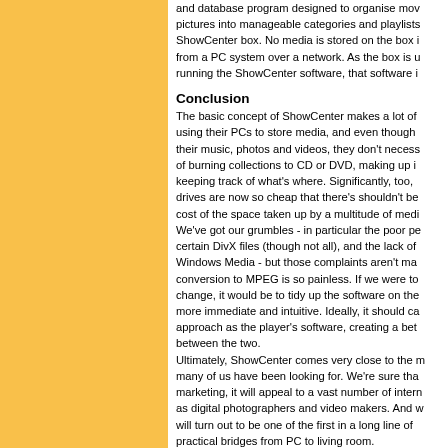and database program designed to organise movies, pictures into manageable categories and playlists, ShowCenter box. No media is stored on the box it from a PC system over a network. As the box is u running the ShowCenter software, that software i
Conclusion
The basic concept of ShowCenter makes a lot of using their PCs to store media, and even though their music, photos and videos, they don't necess of burning collections to CD or DVD, making up i keeping track of what's where. Significantly, too, drives are now so cheap that there's shouldn't be cost of the space taken up by a multitude of medi We've got our grumbles - in particular the poor pe certain DivX files (though not all), and the lack of Windows Media - but those complaints aren't ma conversion to MPEG is so painless. If we were to change, it would be to tidy up the software on the more immediate and intuitive. Ideally, it should ca approach as the player's software, creating a bet between the two. Ultimately, ShowCenter comes very close to the m many of us have been looking for. We're sure tha marketing, it will appeal to a vast number of intern as digital photographers and video makers. And w will turn out to be one of the first in a long line of practical bridges from PC to living room.
Peter Wells